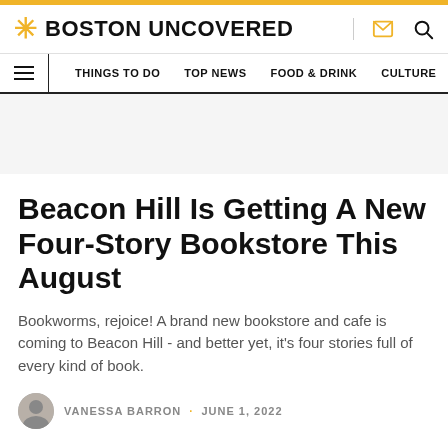BOSTON UNCOVERED
THINGS TO DO  TOP NEWS  FOOD & DRINK  CULTURE
Beacon Hill Is Getting A New Four-Story Bookstore This August
Bookworms, rejoice! A brand new bookstore and cafe is coming to Beacon Hill - and better yet, it's four stories full of every kind of book.
VANESSA BARRON · JUNE 1, 2022